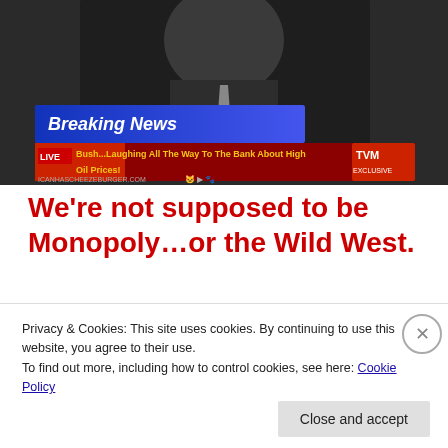[Figure (screenshot): TV news screenshot showing a person in suit, with a 'Breaking News' lower-third graphic. Chyron reads: 'LIVE Bush...Laughing All The Way To The Bank About High Oil Prices!' with TVM EXCLUSIVE logo. Watermark: ICANHASCHEEZEBURGER.COM]
We’re not supposed to be Monopoly…or the Wild West.
[Figure (screenshot): Email header showing: From: Carlos Lam [address deleted]]
Privacy & Cookies: This site uses cookies. By continuing to use this website, you agree to their use.
To find out more, including how to control cookies, see here: Cookie Policy
Close and accept